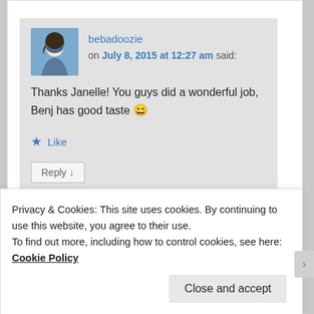bebadoozie on July 8, 2015 at 12:27 am said:
Thanks Janelle! You guys did a wonderful job, Benj has good taste 😊
★ Like
Reply ↓
Privacy & Cookies: This site uses cookies. By continuing to use this website, you agree to their use.
To find out more, including how to control cookies, see here: Cookie Policy
Close and accept